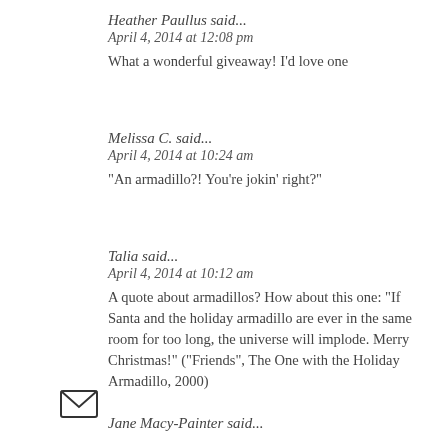Heather Paullus said...
April 4, 2014 at 12:08 pm
What a wonderful giveaway! I'd love one
Melissa C. said...
April 4, 2014 at 10:24 am
"An armadillo?! You're jokin' right?"
Talia said...
April 4, 2014 at 10:12 am
A quote about armadillos? How about this one: "If Santa and the holiday armadillo are ever in the same room for too long, the universe will implode. Merry Christmas!" ("Friends", The One with the Holiday Armadillo, 2000)
[Figure (illustration): Envelope/mail icon - a small rectangle with an envelope outline]
Jane Macy-Painter said...